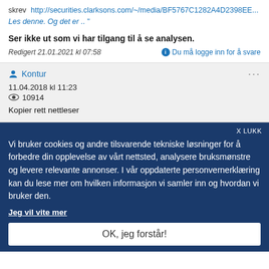skrev  http://securities.clarksons.com/~/media/BF5767C1282A4D2398EE... Les denne. Og det er .. "
Ser ikke ut som vi har tilgang til å se analysen.
Redigert 21.01.2021 kl 07:58   Du må logge inn for å svare
Kontur
11.04.2018 kl 11:23
10914
Kopier rett nettleser
Vi bruker cookies og andre tilsvarende tekniske løsninger for å forbedre din opplevelse av vårt nettsted, analysere bruksmønstre og levere relevante annonser. I vår oppdaterte personvernerklæring kan du lese mer om hvilken informasjon vi samler inn og hvordan vi bruker den.
Jeg vil vite mer
OK, jeg forstår!